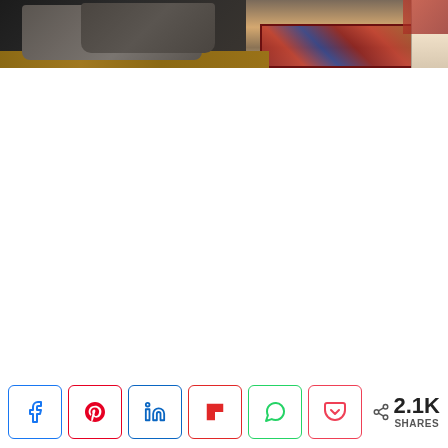[Figure (photo): Partial view of a bedroom scene showing dark pillows/bedding in the upper left and a decorative red and blue Persian/Oriental rug in the lower right, with hardwood floors and a window visible]
< 2.1K SHARES — social share buttons: Facebook, Pinterest, LinkedIn, Flipboard, WhatsApp, Pocket